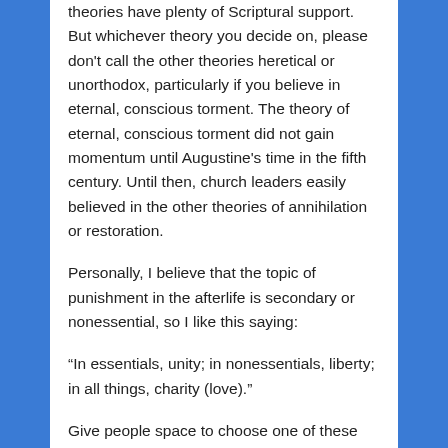theories have plenty of Scriptural support. But whichever theory you decide on, please don't call the other theories heretical or unorthodox, particularly if you believe in eternal, conscious torment. The theory of eternal, conscious torment did not gain momentum until Augustine's time in the fifth century. Until then, church leaders easily believed in the other theories of annihilation or restoration.
Personally, I believe that the topic of punishment in the afterlife is secondary or nonessential, so I like this saying:
“In essentials, unity; in nonessentials, liberty; in all things, charity (love).”
Give people space to choose one of these nonessential, Bible-supported theories. You can still have fellowship with them.
GrowApp for Matt. 3:1-12
A. John baptized in water. Jesus with the Holy Spirit and